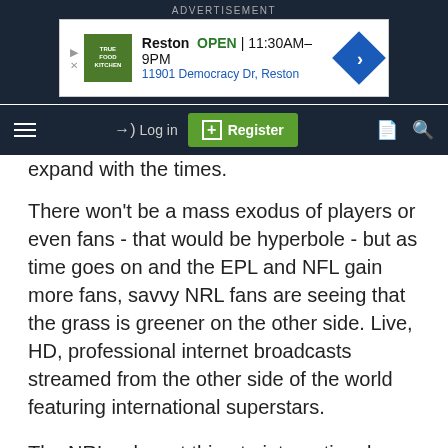[Figure (screenshot): Advertisement banner for True Food Kitchen, Reston location. Shows logo, open hours 11:30AM-9PM, address 11901 Democracy Dr, Reston, and a blue diamond navigation arrow.]
[Figure (screenshot): Navigation bar with hamburger menu, Log in link, green Register button, document icon, and search icon on dark navy background.]
expand with the times.
There won't be a mass exodus of players or even fans - that would be hyperbole - but as time goes on and the EPL and NFL gain more fans, savvy NRL fans are seeing that the grass is greener on the other side. Live, HD, professional internet broadcasts streamed from the other side of the world featuring international superstars.
The NRLs closest thing to international superstars can make more money and find new challenges playing Rugby in France or England. This will continue until Australian RL uses its considerable money, power and